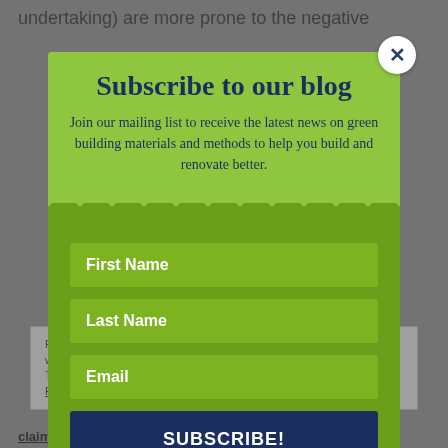undertaking) are more prone to the negative
[Figure (screenshot): Email subscription modal popup with green background, fields for First Name, Last Name, Email, and a Subscribe button. A close (X) button is in the top right. Title reads 'Subscribe to our blog'. Subtitle: 'Join our mailing list to receive the latest news on green building materials and methods to help you build and renovate better.']
claiming to help beekeepers to detect insects by